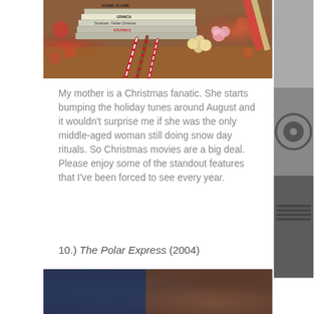[Figure (photo): Stack of Christmas movie DVDs/VHS tapes including Home Alone, The Grinch, Snowman & Father Christmas, and Christmas with the Kranks, surrounded by candy canes and popcorn with festive bokeh lights in background]
My mother is a Christmas fanatic. She starts bumping the holiday tunes around August and it wouldn't surprise me if she was the only middle-aged woman still doing snow day rituals. So Christmas movies are a big deal. Please enjoy some of the standout features that I've been forced to see every year.
10.) The Polar Express (2004)
[Figure (photo): Blurred/out-of-focus image with blue and warm tones, appearing to be a scene from The Polar Express movie]